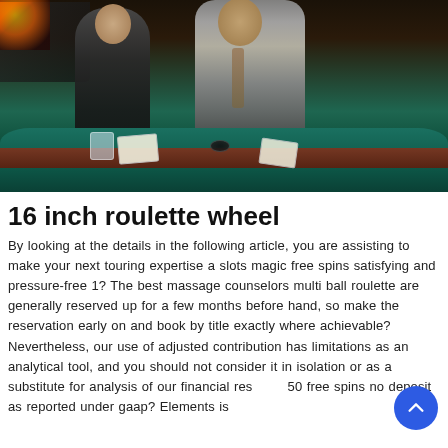[Figure (photo): Two men in suits standing at a casino table with a green felt surface. Casino gaming area in background with slot machines visible. One man is leaning over the table holding casino chips.]
16 inch roulette wheel
By looking at the details in the following article, you are assisting to make your next touring expertise a slots magic free spins satisfying and pressure-free 1? The best massage counselors multi ball roulette are generally reserved up for a few months before hand, so make the reservation early on and book by title exactly where achievable? Nevertheless, our use of adjusted contribution has limitations as an analytical tool, and you should not consider it in isolation or as a substitute for analysis of our financial res 50 free spins no deposit as reported under gaap? Elements is